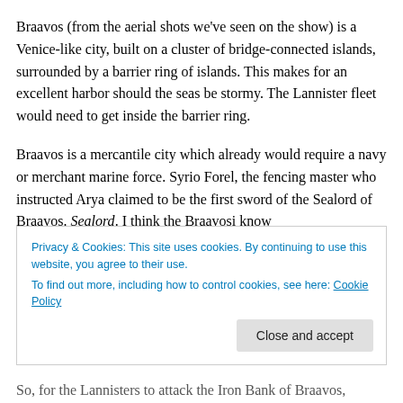Braavos (from the aerial shots we've seen on the show) is a Venice-like city, built on a cluster of bridge-connected islands, surrounded by a barrier ring of islands. This makes for an excellent harbor should the seas be stormy. The Lannister fleet would need to get inside the barrier ring.
Braavos is a mercantile city which already would require a navy or merchant marine force. Syrio Forel, the fencing master who instructed Arya claimed to be the first sword of the Sealord of Braavos. Sealord. I think the Braavosi know
Privacy & Cookies: This site uses cookies. By continuing to use this website, you agree to their use.
To find out more, including how to control cookies, see here: Cookie Policy
Close and accept
So, for the Lannisters to attack the Iron Bank of Braavos,